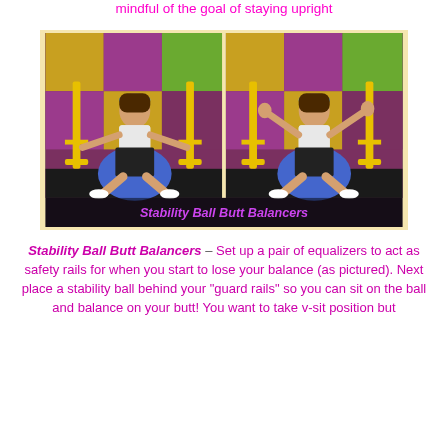mindful of the goal of staying upright
[Figure (photo): Two side-by-side photos of a man sitting on a stability ball in v-sit position, arms outstretched, with yellow equalizer bars as safety rails on either side. Colorful patterned wall in background. Text overlay reads 'Stability Ball Butt Balancers'.]
Stability Ball Butt Balancers – Set up a pair of equalizers to act as safety rails for when you start to lose your balance (as pictured). Next place a stability ball behind your "guard rails" so you can sit on the ball and balance on your butt! You want to take v-sit position but